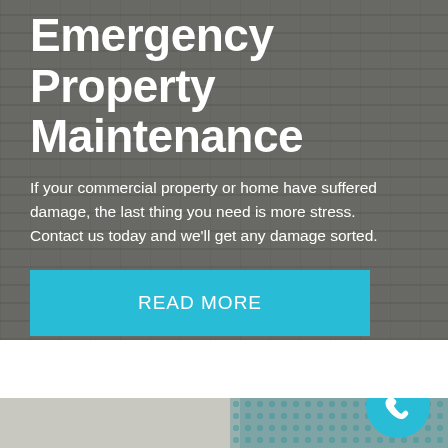[Figure (photo): Background photo of a flat commercial roof with concrete surface, viewed at an angle, with overlaid dark semi-transparent filter]
Emergency Property Maintenance
If your commercial property or home have suffered damage, the last thing you need is more stress. Contact us today and we’ll get any damage sorted.
READ MORE
[Figure (photo): Bottom strip showing partial interior room photo on left and teal/green decorative tile pattern on right, with a cyan phone call button circle icon on the right side]